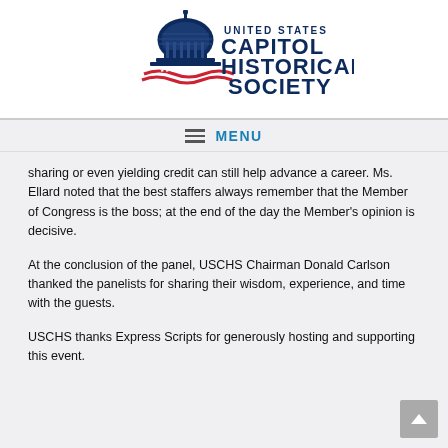[Figure (logo): United States Capitol Historical Society logo with Capitol dome illustration and text]
MENU
sharing or even yielding credit can still help advance a career. Ms. Ellard noted that the best staffers always remember that the Member of Congress is the boss; at the end of the day the Member's opinion is decisive.
At the conclusion of the panel, USCHS Chairman Donald Carlson thanked the panelists for sharing their wisdom, experience, and time with the guests.
USCHS thanks Express Scripts for generously hosting and supporting this event.